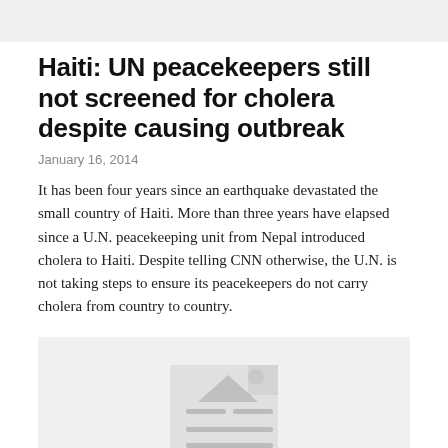Haiti: UN peacekeepers still not screened for cholera despite causing outbreak
January 16, 2014
It has been four years since an earthquake devastated the small country of Haiti. More than three years have elapsed since a U.N. peacekeeping unit from Nepal introduced cholera to Haiti. Despite telling CNN otherwise, the U.N. is not taking steps to ensure its peacekeepers do not carry cholera from country to country.
[Figure (other): Placeholder image area with a document/image icon indicating an unavailable or loading image]